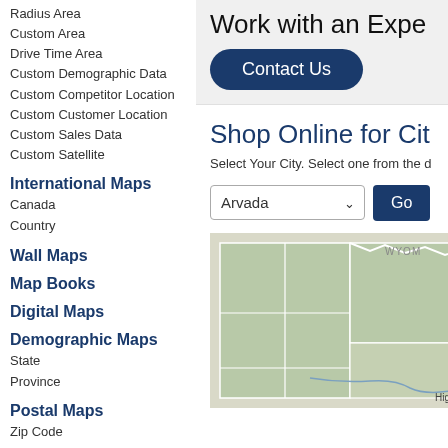Radius Area
Custom Area
Drive Time Area
Custom Demographic Data
Custom Competitor Location
Custom Customer Location
Custom Sales Data
Custom Satellite
International Maps
Canada
Country
Wall Maps
Map Books
Digital Maps
Demographic Maps
State
Province
Postal Maps
Zip Code
Carrier Route
Work with an Expe
Contact Us
Shop Online for Cit
Select Your City. Select one from the d
Arvada
Go
[Figure (map): Partial map showing regions of Colorado/Wyoming area with county boundaries in green tones. Labels visible: WYOM, B, W, High]